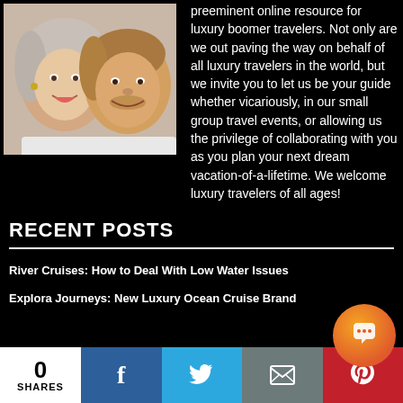[Figure (photo): A smiling couple, woman with gray-blonde hair and man, against a light background]
preeminent online resource for luxury boomer travelers. Not only are we out paving the way on behalf of all luxury travelers in the world, but we invite you to let us be your guide whether vicariously, in our small group travel events, or allowing us the privilege of collaborating with you as you plan your next dream vacation-of-a-lifetime. We welcome luxury travelers of all ages!
RECENT POSTS
River Cruises: How to Deal With Low Water Issues
Explora Journeys: New Luxury Ocean Cruise Brand
0 SHARES